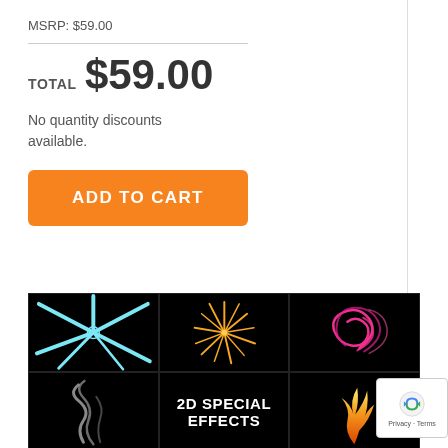MSRP: $59.00
TOTAL $59.00
No quantity discounts available.
ADD TO CART
[Figure (illustration): Image strip showing 2D special effects: top row has cyan starburst/lens flare on black, orange firework burst on black, pink swirling lines on black; bottom row has grey smoke wisps on black, '2D SPECIAL EFFECTS' text on black, orange flame/fire on black.]